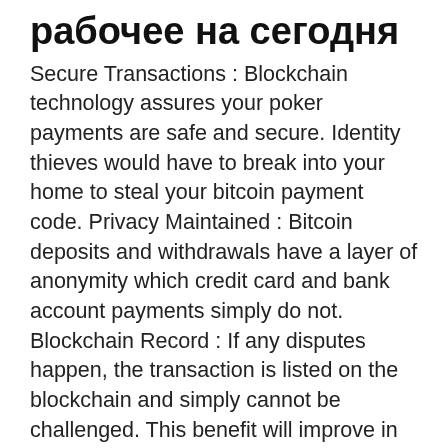рабочее на сегодня
Secure Transactions : Blockchain technology assures your poker payments are safe and secure. Identity thieves would have to break into your home to steal your bitcoin payment code. Privacy Maintained : Bitcoin deposits and withdrawals have a layer of anonymity which credit card and bank account payments simply do not. Blockchain Record : If any disputes happen, the transaction is listed on the blockchain and simply cannot be challenged. This benefit will improve in the near future, bitstarz casino зеркало рабочее на сегодня.
Don't waste any time, bitstarz casino зеркало рабочее на сегодня.
More information can be found at bitcoin, bitstarz casino зеркало рабочее на сегодня. Why do bitcoins have value? Bitcoins have value because people find the Bitcoin protocol to be a useful means of